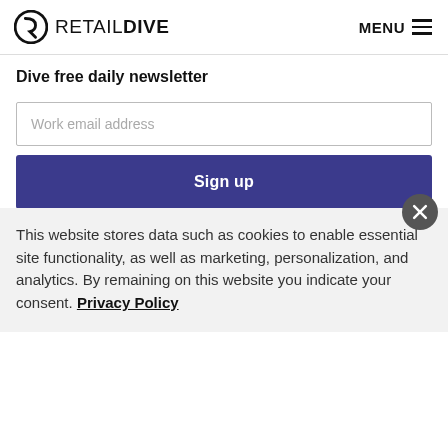RETAIL DIVE  MENU
Dive free daily newsletter
Work email address
Sign up
4. Not a home run, but a stand-up double
This website stores data such as cookies to enable essential site functionality, as well as marketing, personalization, and analytics. By remaining on this website you indicate your consent. Privacy Policy